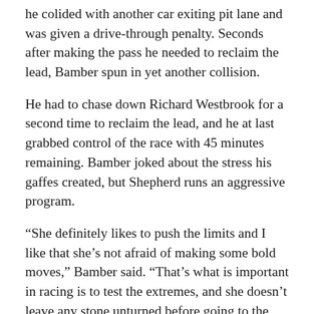he colided with another car exiting pit lane and was given a drive-through penalty. Seconds after making the pass he needed to reclaim the lead, Bamber spun in yet another collision.
He had to chase down Richard Westbrook for a second time to reclaim the lead, and he at last grabbed control of the race with 45 minutes remaining. Bamber joked about the stress his gaffes created, but Shepherd runs an aggressive program.
“She definitely likes to push the limits and I like that she’s not afraid of making some bold moves,” Bamber said. “That’s what is important in racing is to test the extremes, and she doesn’t leave any stone unturned before going to the race to make sure she gives us the best car, and I think that’s what makes her strong.
“She wants to continuously improve, and that’s what I like about her character on that. And she does keep us on the straight and narrow.”